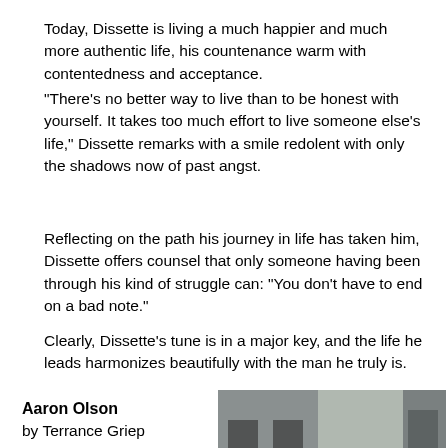Today, Dissette is living a much happier and much more authentic life, his countenance warm with contentedness and acceptance.
“There’s no better way to live than to be honest with yourself. It takes too much effort to live someone else’s life,” Dissette remarks with a smile redolent with only the shadows now of past angst.
Reflecting on the path his journey in life has taken him, Dissette offers counsel that only someone having been through his kind of struggle can: “You don’t have to end on a bad note.”
Clearly, Dissette’s tune is in a major key, and the life he leads harmonizes beautifully with the man he truly is.
Aaron Olson
by Terrance Griep

“SWM, as gay as a spring lamb, twice divorced (from women), seeks someone to partner in the restaurant
[Figure (photo): Portrait photo of a bald man with a goatee wearing a blue shirt, photographed outdoors in front of a building with architectural details]